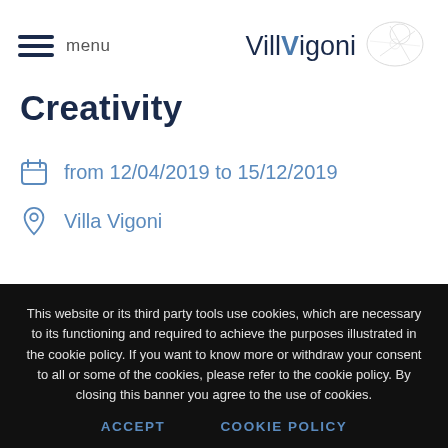menu | VillaVigoni
Creativity
from 12/04/2019 to 15/12/2019
Villa Vigoni
This website or its third party tools use cookies, which are necessary to its functioning and required to achieve the purposes illustrated in the cookie policy. If you want to know more or withdraw your consent to all or some of the cookies, please refer to the cookie policy. By closing this banner you agree to the use of cookies.
ACCEPT | COOKIE POLICY